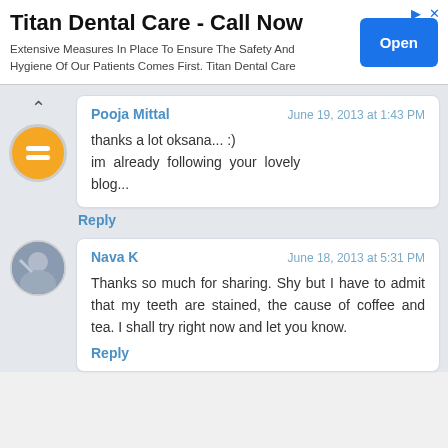[Figure (screenshot): Advertisement banner for Titan Dental Care with an Open button]
Titan Dental Care - Call Now
Extensive Measures In Place To Ensure The Safety And Hygiene Of Our Patients Comes First. Titan Dental Care
Pooja Mittal
June 19, 2013 at 1:43 PM
thanks a lot oksana... :)
im already following your lovely blog...
Reply
Nava K
June 18, 2013 at 5:31 PM
Thanks so much for sharing. Shy but I have to admit that my teeth are stained, the cause of coffee and tea. I shall try right now and let you know.
Reply